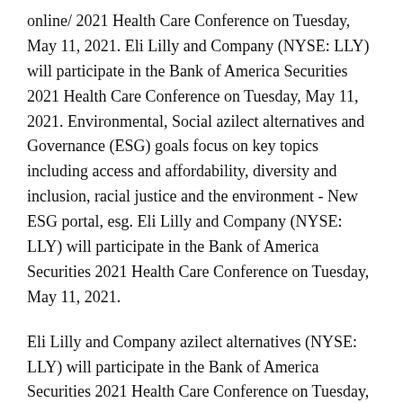online/ 2021 Health Care Conference on Tuesday, May 11, 2021. Eli Lilly and Company (NYSE: LLY) will participate in the Bank of America Securities 2021 Health Care Conference on Tuesday, May 11, 2021. Environmental, Social azilect alternatives and Governance (ESG) goals focus on key topics including access and affordability, diversity and inclusion, racial justice and the environment - New ESG portal, esg. Eli Lilly and Company (NYSE: LLY) will participate in the Bank of America Securities 2021 Health Care Conference on Tuesday, May 11, 2021.
Eli Lilly and Company azilect alternatives (NYSE: LLY) will participate in the Bank of America Securities 2021 Health Care Conference on Tuesday, May 11, 2021. Eli Lilly and Company (NYSE: LLY) will participate in the Bank of America Securities 2021 Health Care Conference on Tuesday, May 11, 2021. Eli Lilly and Company (NYSE: LLY